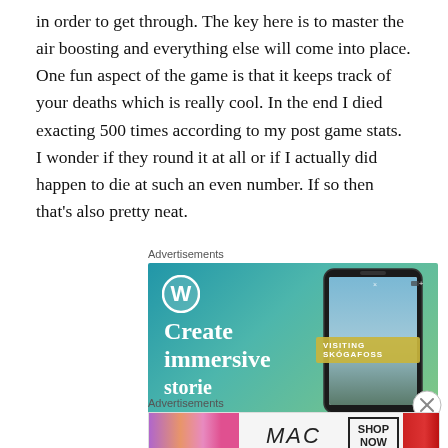in order to get through. The key here is to master the air boosting and everything else will come into place. One fun aspect of the game is that it keeps track of your deaths which is really cool. In the end I died exacting 500 times according to my post game stats. I wonder if they round it at all or if I actually did happen to die at such an even number. If so then that's also pretty neat.
[Figure (other): WordPress advertisement banner with blue-green gradient background, WordPress logo, text 'Create immersive storie...' and a smartphone showing 'VISITING SKÓGAFOSS']
[Figure (other): MAC cosmetics advertisement showing lipsticks on left and right, MAC logo in center-left, and 'SHOP NOW' box on right]